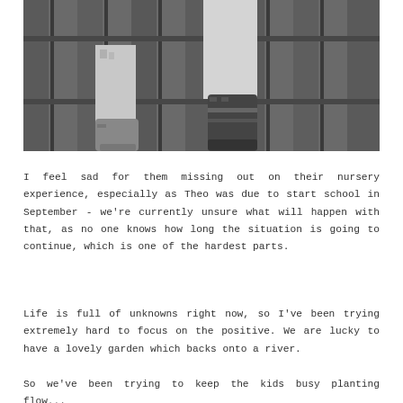[Figure (photo): Black and white photograph showing the lower legs and feet of two young children standing on wooden decking/slats. One child wears a patterned dress with small boots, the other wears light trousers with tall dark boots.]
I feel sad for them missing out on their nursery experience, especially as Theo was due to start school in September - we're currently unsure what will happen with that, as no one knows how long the situation is going to continue, which is one of the hardest parts.
Life is full of unknowns right now, so I've been trying extremely hard to focus on the positive. We are lucky to have a lovely garden which backs onto a river.
So we've been trying to keep the kids busy planting flow...